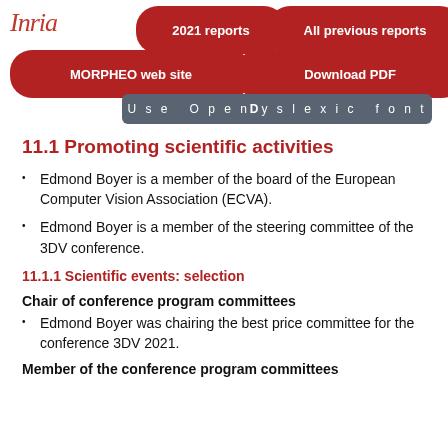[Figure (logo): Inria logo in red italic script]
2021 reports | All previous reports | MORPHEO web site | Download PDF | Use OpenDyslexic font
11.1 Promoting scientific activities
Edmond Boyer is a member of the board of the European Computer Vision Association (ECVA).
Edmond Boyer is a member of the steering committee of the 3DV conference.
11.1.1 Scientific events: selection
Chair of conference program committees
Edmond Boyer was chairing the best price committee for the conference 3DV 2021.
Member of the conference program committees